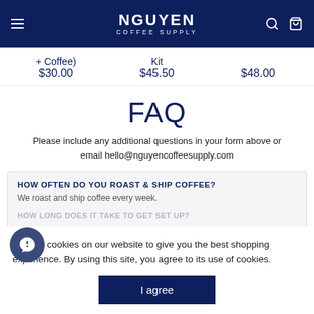NGUYEN COFFEE SUPPLY
+ Coffee)
$30.00
Kit
$45.50
$48.00
FAQ
Please include any additional questions in your form above or email hello@nguyencoffeesupply.com
HOW OFTEN DO YOU ROAST & SHIP COFFEE?
We roast and ship coffee every week.
HOW LONG DOES IT TAKE TO GET SET UP?
HOW MUCH LEAD TIME DO YOU REQUIRE?
We use cookies on our website to give you the best shopping experience. By using this site, you agree to its use of cookies.
I agree